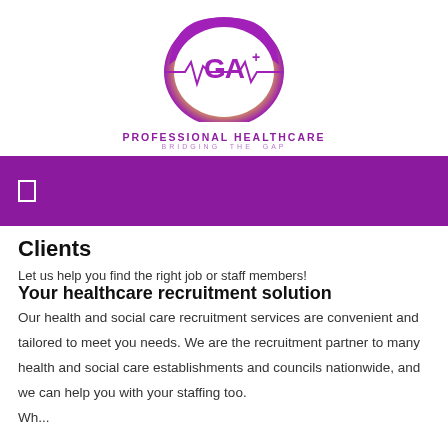[Figure (logo): GA+ Professional Healthcare logo — circular gradient (purple, green, yellow) with heartbeat line and medical cross, text 'PROFESSIONAL HEALTHCARE' and 'BRIDGING THE GAP']
[Figure (other): Purple navigation bar with white hamburger/menu icon on left]
Clients
Let us help you find the right job or staff members!
Your healthcare recruitment solution
Our health and social care recruitment services are convenient and tailored to meet you needs. We are the recruitment partner to many health and social care establishments and councils nationwide, and we can help you with your staffing too.
Wh...